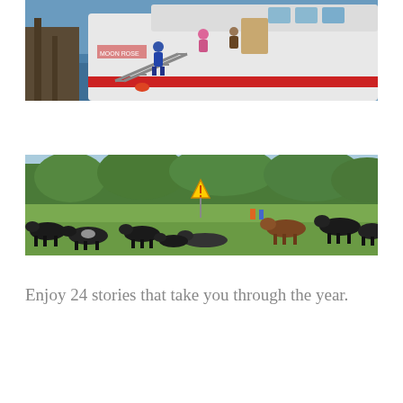[Figure (photo): Aerial/side view of a white and red boat docked at a pier with people boarding via a metal gangway, blue water visible alongside.]
[Figure (photo): Outdoor scene of many dark-colored cows resting on a grassy field with trees in the background and a warning triangle sign visible.]
Enjoy 24 stories that take you through the year.